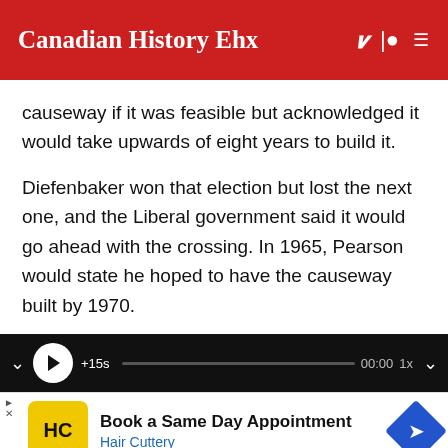Canadian History Ehx
causeway if it was feasible but acknowledged it would take upwards of eight years to build it.
Diefenbaker won that election but lost the next one, and the Liberal government said it would go ahead with the crossing. In 1965, Pearson would state he hoped to have the causeway built by 1970.
[Figure (screenshot): Media player bar with play button, progress bar, timestamp 00:00, and 1x speed indicator on dark background]
[Figure (screenshot): Advertisement banner: Hair Cuttery logo (HC in yellow circle), text 'Book a Same Day Appointment', 'Hair Cuttery', and blue diamond navigation arrow]